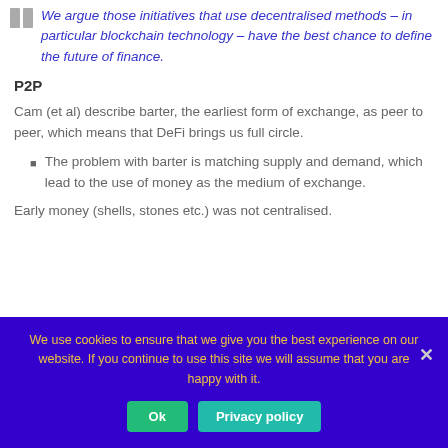We argue those initiatives that use decentralised methods – in particular blockchain technology – have the best chance to define the future of finance.
P2P
Cam (et al) describe barter, the earliest form of exchange, as peer to peer, which means that DeFi brings us full circle.
The problem with barter is matching supply and demand, which lead to the use of money as the medium of exchange.
Early money (shells, stones etc.) was not centralised.
We use cookies to ensure that we give you the best experience on our website. If you continue to use this site we will assume that you are happy with it.